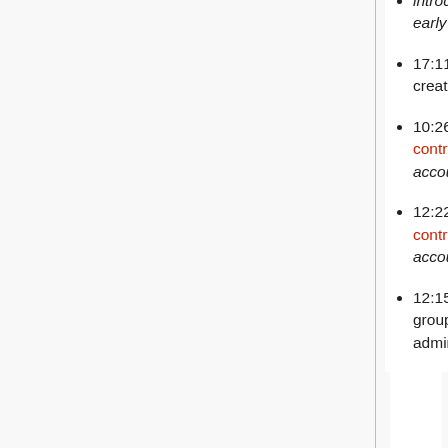introduce functional programming and functional thinking as early as poss)
17:11, 11 June 2013 User account Jlc (talk | contribs) was created by WikiSysop (talk | contribs) (new account)
10:26, 10 June 2013 User account JohnPeterson (talk | contribs) was created by WikiSysop (talk | contribs) (new account)
12:22, 31 May 2013 User account ElenaMachkasova (talk | contribs) was created by WikiSysop (talk | contribs) (new account)
12:15, 31 May 2013 CnczSysop (talk | contribs) changed group membership for WikiSysop from (none) to administrator and bureaucrat